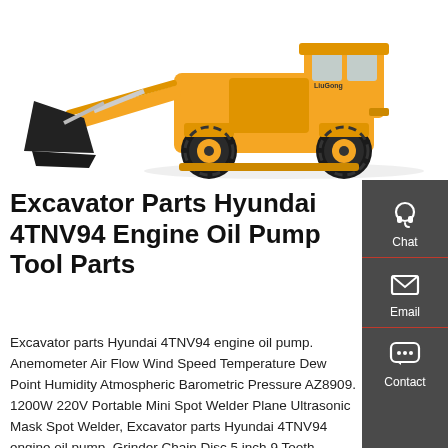[Figure (photo): Yellow LiuGong wheel loader (front loader / bucket loader) photographed on white background, showing large black bucket in front and yellow body with black tires.]
Excavator Parts Hyundai 4TNV94 Engine Oil Pump Tool Parts
Excavator parts Hyundai 4TNV94 engine oil pump. Anemometer Air Flow Wind Speed Temperature Dew Point Humidity Atmospheric Barometric Pressure AZ8909. 1200W 220V Portable Mini Spot Welder Plane Ultrasonic Mask Spot Welder, Excavator parts Hyundai 4TNV94 engine oil pump, Grinder Chain Disc 5 inch 9 Tooth Woodworking Grinder